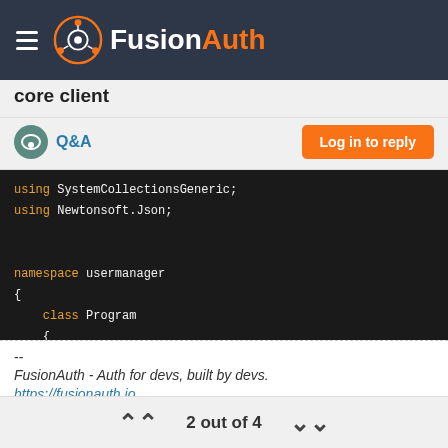FusionAuth
core client
Q&A
[Figure (screenshot): Code block showing C# code with using statements for Newtonsoft.Json, namespace usermanager, class Program, and a private static readonly string apiKey = Env... line]
--
FusionAuth - Auth for devs, built by devs.
https://fusionauth.io
2 out of 4